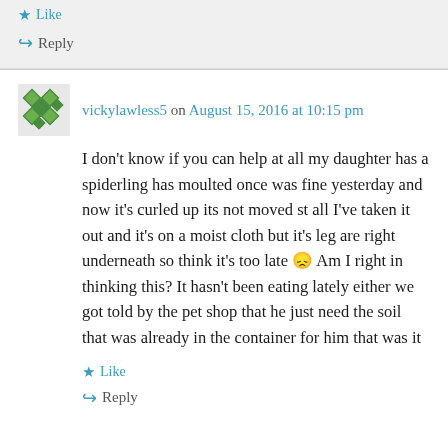Like
Reply
vickylawless5 on August 15, 2016 at 10:15 pm
I don't know if you can help at all my daughter has a spiderling has moulted once was fine yesterday and now it's curled up its not moved st all I've taken it out and it's on a moist cloth but it's leg are right underneath so think it's too late 😞 Am I right in thinking this? It hasn't been eating lately either we got told by the pet shop that he just need the soil that was already in the container for him that was it
Like
Reply